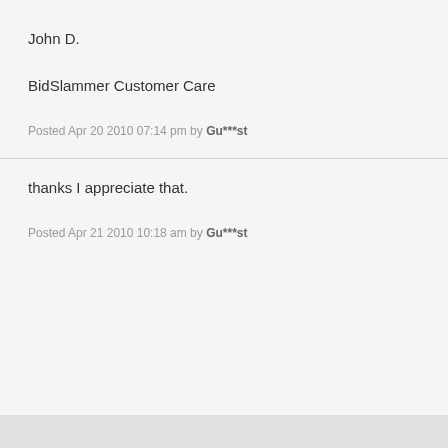John D.
BidSlammer Customer Care
Posted Apr 20 2010 07:14 pm by Gu***st
thanks I appreciate that.
Posted Apr 21 2010 10:18 am by Gu***st